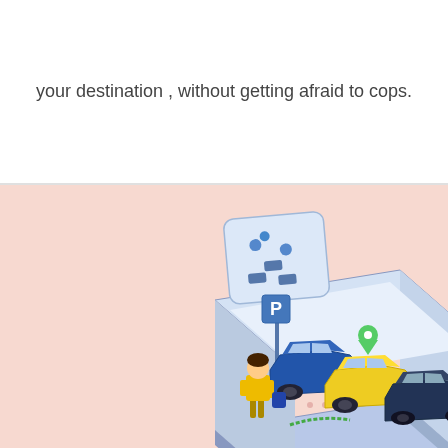your destination , without getting afraid to cops.
[Figure (illustration): Isometric illustration of a smart parking app on a mobile phone platform, showing a person in yellow outfit, a parking sign (P), a blue car, a yellow taxi, a dark blue car, a green location pin, and a phone UI showing a parking map. Dot pattern decorative element in the bottom right corner. Pink/salmon background.]